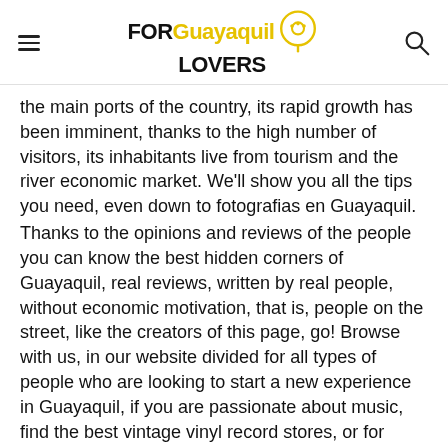FOR Guayaquil LOVERS
the main ports of the country, its rapid growth has been imminent, thanks to the high number of visitors, its inhabitants live from tourism and the river economic market. We'll show you all the tips you need, even down to fotografias en Guayaquil.
Thanks to the opinions and reviews of the people you can know the best hidden corners of Guayaquil, real reviews, written by real people, without economic motivation, that is, people on the street, like the creators of this page, go! Browse with us, in our website divided for all types of people who are looking to start a new experience in Guayaquil, if you are passionate about music, find the best vintage vinyl record stores, or for example if you are passionate about sports, find the best sports center that suits your needs. This belongs to everyone, because we